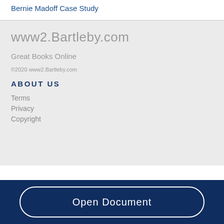Bernie Madoff Case Study
www2.Bartleby.com
Great Books Online
©2020 www2.Bartleby.com
About Us
Terms
Privacy
Copyright
Open Document